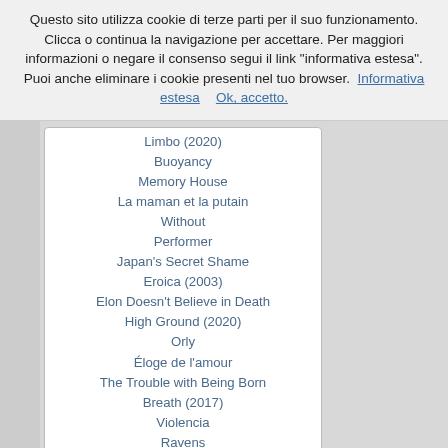Questo sito utilizza cookie di terze parti per il suo funzionamento. Clicca o continua la navigazione per accettare. Per maggiori informazioni o negare il consenso segui il link "informativa estesa". Puoi anche eliminare i cookie presenti nel tuo browser.  Informativa estesa    Ok, accetto.
Limbo (2020)
Buoyancy
Memory House
La maman et la putain
Without
Performer
Japan's Secret Shame
Eroica (2003)
Elon Doesn't Believe in Death
High Ground (2020)
Orly
Éloge de l'amour
The Trouble with Being Born
Breath (2017)
Violencia
Ravens
Marseille
Fragment of an Empire
Fauve
Barn - Beware of Children
Retouch
Black River
As I Was Moving Ahead Occasionally I Saw Brief Glimpses...
Elenco completo
Day a Pig Fell Into the Well, The